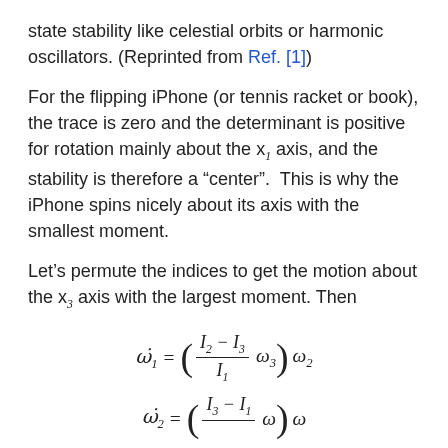state stability like celestial orbits or harmonic oscillators. (Reprinted from Ref. [1])
For the flipping iPhone (or tennis racket or book), the trace is zero and the determinant is positive for rotation mainly about the x₁ axis, and the stability is therefore a "center". This is why the iPhone spins nicely about its axis with the smallest moment.
Let's permute the indices to get the motion about the x₃ axis with the largest moment. Then